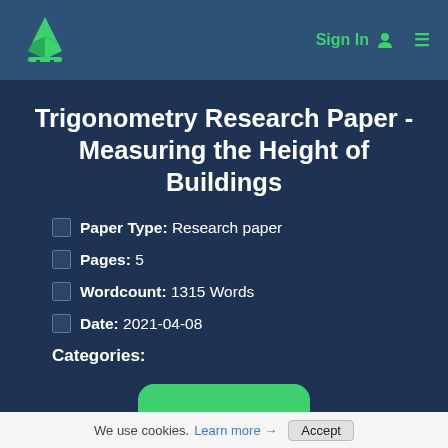Sign In  ≡
Trigonometry Research Paper - Measuring the Height of Buildings
Paper Type: Research paper
Pages: 5
Wordcount: 1315 Words
Date: 2021-04-08
Categories:
We use cookies. Learn more → Accept